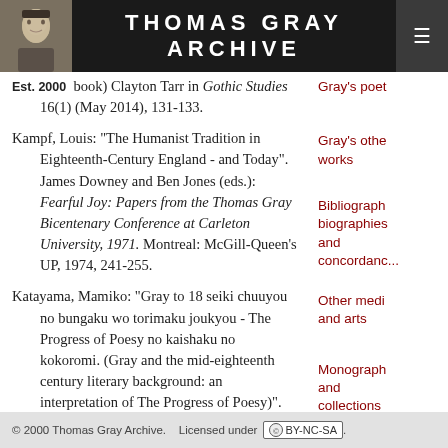THOMAS GRAY ARCHIVE
Rowman & Littlefield, 2012. Review: (of book) Clayton Tarr in Gothic Studies 16(1) (May 2014), 131-133.
Kampf, Louis: "The Humanist Tradition in Eighteenth-Century England - and Today". James Downey and Ben Jones (eds.): Fearful Joy: Papers from the Thomas Gray Bicentenary Conference at Carleton University, 1971. Montreal: McGill-Queen's UP, 1974, 241-255.
Katayama, Mamiko: "Gray to 18 seiki chuuyou no bungaku wo torimaku joukyou - The Progress of Poesy no kaishaku no kokoromi. (Gray and the mid-eighteenth century literary background: an interpretation of The Progress of Poesy)". Studies in English Literature/Eibungaku kenkyu (English Literary Soc. of Japan/Nihon
Gray's poe...
Gray's other works
Bibliographies, biographies and concordance...
Other media and arts
Monographs and collections
Articles
© 2000 Thomas Gray Archive. Licensed under CC BY-NC-SA.